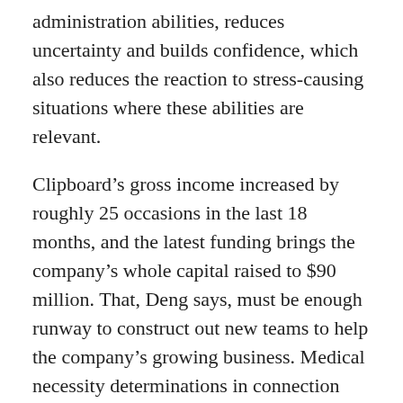administration abilities, reduces uncertainty and builds confidence, which also reduces the reaction to stress-causing situations where these abilities are relevant.
Clipboard's gross income increased by roughly 25 occasions in the last 18 months, and the latest funding brings the company's whole capital raised to $90 million. That, Deng says, must be enough runway to construct out new teams to help the company's growing business. Medical necessity determinations in connection with coverage decisions are made on a case-by-case basis. In the event that a member disagrees with a coverage dedication, member could also be eligible for the proper to an inner appeal and/or an unbiased external appeal in accordance with applicable federal or state legislation.